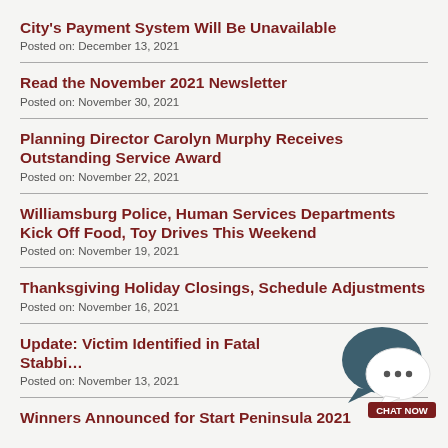City's Payment System Will Be Unavailable
Posted on: December 13, 2021
Read the November 2021 Newsletter
Posted on: November 30, 2021
Planning Director Carolyn Murphy Receives Outstanding Service Award
Posted on: November 22, 2021
Williamsburg Police, Human Services Departments Kick Off Food, Toy Drives This Weekend
Posted on: November 19, 2021
Thanksgiving Holiday Closings, Schedule Adjustments
Posted on: November 16, 2021
Update: Victim Identified in Fatal Stabbi…
Posted on: November 13, 2021
[Figure (illustration): Chat now widget with speech bubble icons and 'CHAT NOW' button]
Winners Announced for Start Peninsula 2021